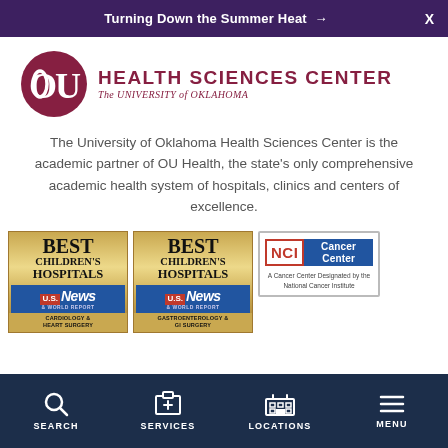Turning Down the Summer Heat →
[Figure (logo): OU Health Sciences Center – The University of Oklahoma logo with crimson OU symbol and text]
The University of Oklahoma Health Sciences Center is the academic partner of OU Health, the state's only comprehensive academic health system of hospitals, clinics and centers of excellence.
[Figure (other): Three badges: Best Children's Hospitals - Cardiology & Heart Surgery (US News & World Report), Best Children's Hospitals - Gastroenterology & GI Surgery (US News & World Report), NCI Cancer Center designation badge]
SEARCH   SERVICES   LOCATIONS   MENU